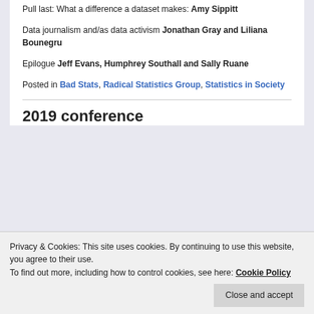Pull last: What a difference a dataset makes: Amy Sippitt
Data journalism and/as data activism Jonathan Gray and Liliana Bounegru
Epilogue Jeff Evans, Humphrey Southall and Sally Ruane
Posted in Bad Stats, Radical Statistics Group, Statistics in Society
2019 conference
Privacy & Cookies: This site uses cookies. By continuing to use this website, you agree to their use.
To find out more, including how to control cookies, see here: Cookie Policy